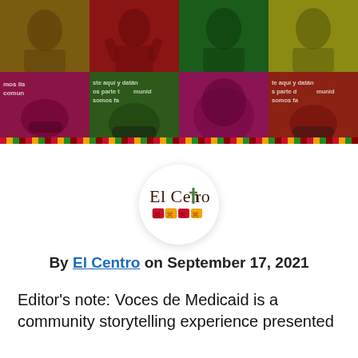[Figure (photo): A collage of 8 photos arranged in a 4x2 grid showing community members, some wearing masks, with Spanish text overlays. Photos have color tints of orange, red, green, yellow, magenta/purple. A decorative border strip with repeating colored pattern runs along the bottom.]
[Figure (logo): El Centro logo inside a white circle with drop shadow. Shows 'El Centro' text in dark brown serif font with a green cross replacing the 't', and a colorful decorative strip below with repeating Aztec-style pattern blocks in red, orange, green, and yellow.]
By El Centro on September 17, 2021
Editor's note: Voces de Medicaid is a community storytelling experience presented